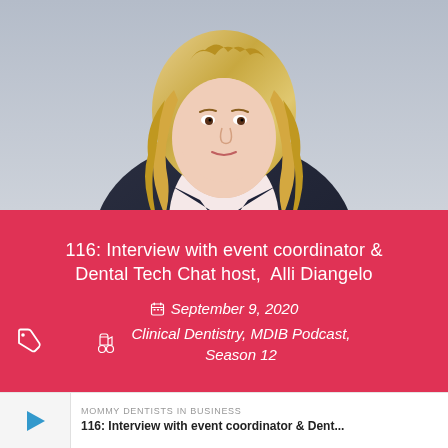[Figure (photo): Professional headshot of a woman with long blonde wavy hair wearing a navy blazer and light pink top, photographed against a light grey background]
116: Interview with event coordinator & Dental Tech Chat host, Alli Diangelo
September 9, 2020
Clinical Dentistry, MDIB Podcast, Season 12
MOMMY DENTISTS IN BUSINESS
116: Interview with event coordinator & Dent...